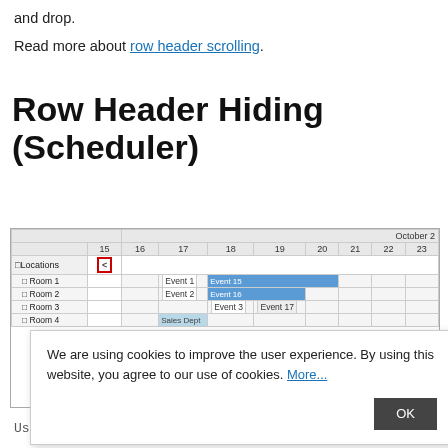and drop.
Read more about row header scrolling.
Row Header Hiding (Scheduler)
[Figure (screenshot): Screenshot of a scheduler UI showing a weekly calendar view with rooms (Room 1, Room 2, Room 3, Room 4) as row headers, dates from 15 to 23 in October, events (Event 1, Event 2, Event 3, Event 15, Event 16, Event 17, Sales Dept) displayed in the grid, and a hide icon (red-bordered button with '<') next to the Locations row header. A cookie consent dialog overlays the bottom portion of the screenshot.]
We are using cookies to improve the user experience. By using this website, you agree to our use of cookies. More...
Use RowHeaderHideIconEnabled= true . This will display an icon in